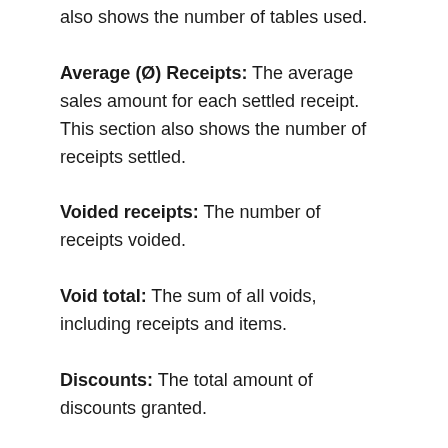also shows the number of tables used.
Average (Ø) Receipts: The average sales amount for each settled receipt. This section also shows the number of receipts settled.
Voided receipts: The number of receipts voided.
Void total: The sum of all voids, including receipts and items.
Discounts: The total amount of discounts granted.
Comps (offered): The value of all 100% discounts granted.